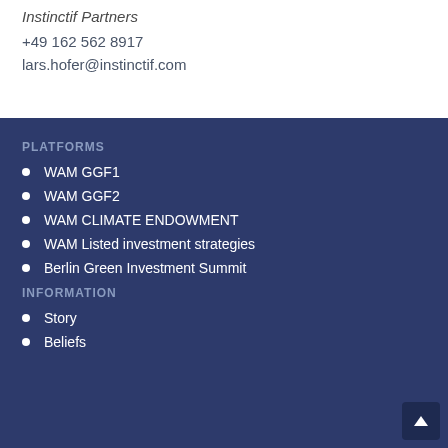Instinctif Partners
+49 162 562 8917
lars.hofer@instinctif.com
PLATFORMS
WAM GGF1
WAM GGF2
WAM CLIMATE ENDOWMENT
WAM Listed investment strategies
Berlin Green Investment Summit
INFORMATION
Story
Beliefs